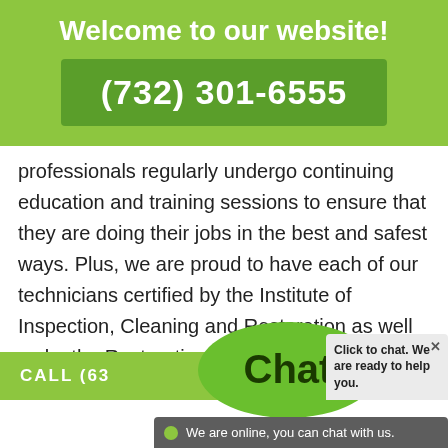Welcome to our website!
(732) 301-6555
professionals regularly undergo continuing education and training sessions to ensure that they are doing their jobs in the best and safest ways. Plus, we are proud to have each of our technicians certified by the Institute of Inspection, Cleaning and Restoration as well as by the Restoration Sciences Academy.
CALL (63...
Chat
Click to chat. We are ready to help you.
We are online, you can chat with us.